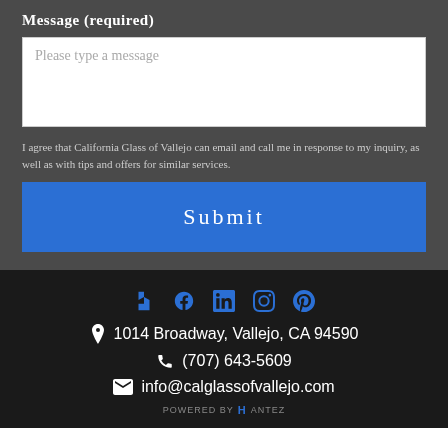Message (required)
[Figure (screenshot): Text area input field with placeholder text 'Please type a message']
I agree that California Glass of Vallejo can email and call me in response to my inquiry, as well as with tips and offers for similar services.
Submit
[Figure (infographic): Social media icons: Houzz, Facebook, LinkedIn, Instagram, Yelp]
1014 Broadway, Vallejo, CA 94590
(707) 643-5609
info@calglassofvallejo.com
POWERED BY HANTEZ